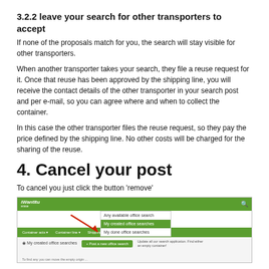3.2.2 leave your search for other transporters to accept
If none of the proposals match for you, the search will stay visible for other transporters.
When another transporter takes your search, they file a reuse request for it. Once that reuse has been approved by the shipping line, you will receive the contact details of the other transporter in your search post and per e-mail, so you can agree where and when to collect the container.
In this case the other transporter files the reuse request, so they pay the price defined by the shipping line. No other costs will be charged for the sharing of the reuse.
4. Cancel your post
To cancel you just click the button ‘remove’
[Figure (screenshot): Screenshot of a web application (iWantItu or similar) showing a dropdown menu with options: 'Any available office search', 'My created office searches' (highlighted in green), 'My done office searches'. Below is a navigation bar and content area with a green button and descriptive text. A red arrow points to the highlighted menu item.]